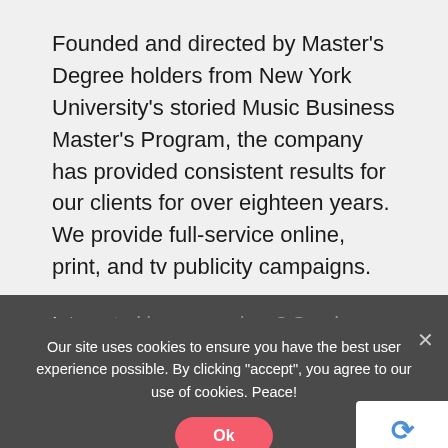Founded and directed by Master's Degree holders from New York University's storied Music Business Master's Program, the company has provided consistent results for our clients for over eighteen years. We provide full-service online, print, and tv publicity campaigns.
Service Inquiries
Interested in our services? Send us the following:
Your Email (required)
[Figure (screenshot): Cookie consent overlay with text: 'Our site uses cookies to ensure you have the best user experience possible. By clicking "accept", you agree to our use of cookies. Peace!' and an 'Ok' button in pink/red.]